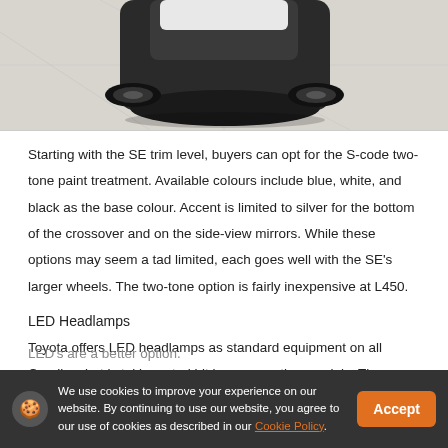[Figure (photo): Bottom portion of a car (Toyota RAV4 or similar) photographed from above on a light grey concrete surface, showing front bumper and wheel area.]
Starting with the SE trim level, buyers can opt for the S-code two-tone paint treatment. Available colours include blue, white, and black as the base colour. Accent is limited to silver for the bottom of the crossover and on the side-view mirrors. While these options may seem a tad limited, each goes well with the SE's larger wheels. The two-tone option is fairly inexpensive at L450.
LED Headlamps
Toyota offers LED headlamps as standard equipment on all Corollas, but is taking a tad bit longer on other models. They are available as an option on the two higher trim levels of the RAV4. Honda offers an LED's are a better option.
We use cookies to improve your experience on our website. By continuing to use our website, you agree to our use of cookies as described in our Cookie Policy.